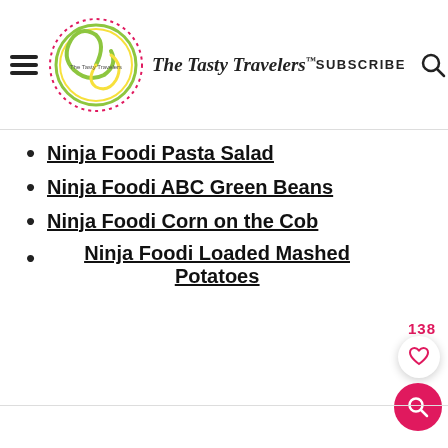[Figure (logo): The Tasty Travelers logo with circular design and text 'The Tasty Travelers']
SUBSCRIBE
Ninja Foodi Pasta Salad
Ninja Foodi ABC Green Beans
Ninja Foodi Corn on the Cob
Ninja Foodi Loaded Mashed Potatoes